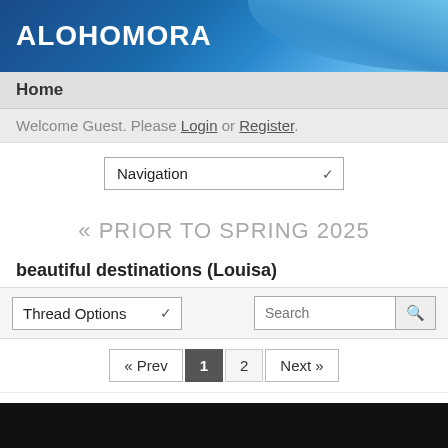ALOHOMORA
Home
Welcome Guest. Please Login or Register.
Navigation
« PRIOR TO SPRING 2025
beautiful destinations (Louisa)
Thread Options
Search
« Prev  1  2  Next »
Deleted
Jan 10, 2017 at 8:53pm